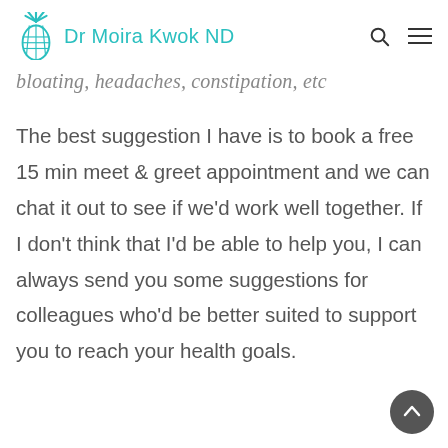Dr Moira Kwok ND
bloating, headaches, constipation, etc
The best suggestion I have is to book a free 15 min meet & greet appointment and we can chat it out to see if we'd work well together. If I don't think that I'd be able to help you, I can always send you some suggestions for colleagues who'd be better suited to support you to reach your health goals.